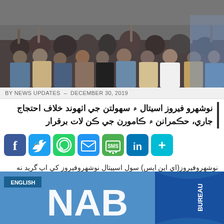[Figure (photo): Group of people sitting on the ground, some with raised hands, at a protest gathering]
BY NEWS UPDATES – DECEMBER 30, 2019
نوشهرو فيروز اسيتال ۾ سهولتن جي اٺهوند خلاف احتجاج جاري، حڪمرانن ۾ ڪامورن جي ڪن لات برقرار
[Figure (infographic): Social media share buttons: Facebook, Twitter, WhatsApp, Email, SMS, LinkedIn, More]
نوشهروفيروز(اي اين ايس) سول اسپيتال نوشهروفيروز کي اڀ گريد نه ڪرن خلاف شهرين بارن...
[Figure (photo): NAB BUREAU logo/banner image with blue background, large white NAB text and BUREAU text on right]